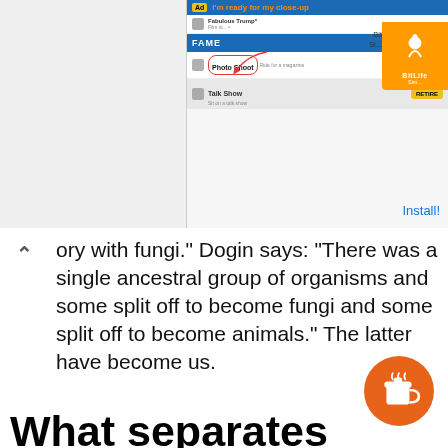[Figure (screenshot): Advertisement banner for BitLife app showing a mobile game screenshot with 'I'm ready for my close-up' text, photo shoot and talk show options, and a BitLife app icon with Install! link]
...ory with fungi." Dogin says: "There was a single ancestral group of organisms and some split off to become fungi and some split off to become animals." The latter have become us.
What separates plants from animals?
Plants and animals share many characteristics but they are different in many respects. Animals usually move around to find their own food while plants are usually